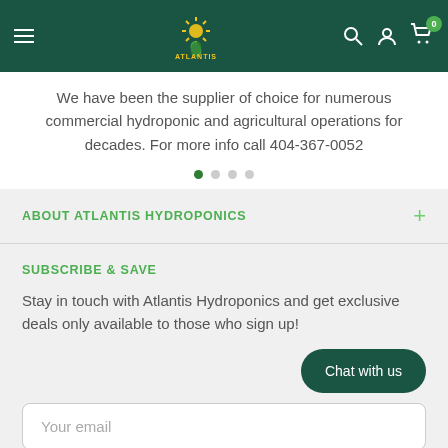Atlantis Hydroponics website header with hamburger menu, logo, search, account, and cart icons
We have been the supplier of choice for numerous commercial hydroponic and agricultural operations for decades. For more info call 404-367-0052
ABOUT ATLANTIS HYDROPONICS
SUBSCRIBE & SAVE
Stay in touch with Atlantis Hydroponics and get exclusive deals only available to those who sign up!
Your email